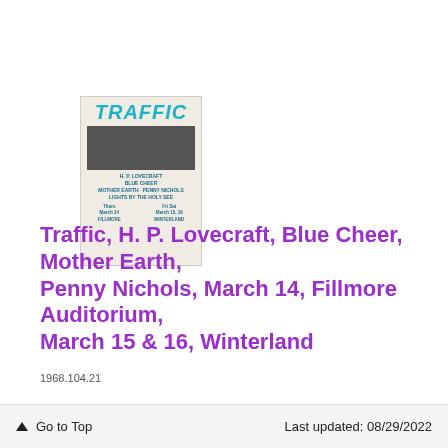[Figure (photo): Concert poster for Traffic, H.P. Lovecraft, Blue Cheer, Mother Earth, Penny Nichols. Shows 'TRAFFIC' in teal italic letters, a band photo, and venue/date details: Thurs March 14, Fillmore; Fri Sat March 15, 16, Winterland.]
Traffic, H. P. Lovecraft, Blue Cheer, Mother Earth, Penny Nichols, March 14, Fillmore Auditorium, March 15 & 16, Winterland
1968.104.21
[Figure (photo): Concert poster with orange/brown background showing text: MOBY GRAPE, TRAFFIC, LEMON PIPERS]
↑ Go to Top    Last updated: 08/29/2022